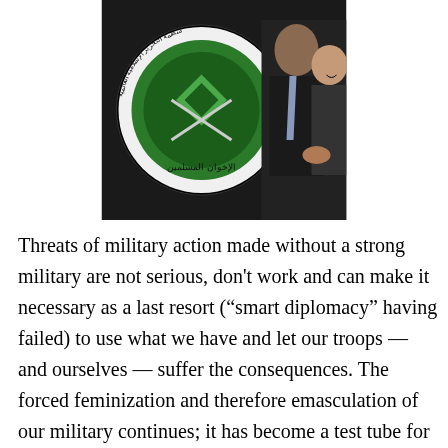[Figure (photo): A composite photo showing a Muslim Brotherhood emblem (green circular logo with Arabic text and crossed swords) alongside two people in formal attire, one in a dark suit with a light blue tie.]
Threats of military action made without a strong military are not serious, don't work and can make it necessary as a last resort (“smart diplomacy” having failed) to use what we have and let our troops — and ourselves — suffer the consequences. The forced feminization and therefore emasculation of our military continues; it has become a test tube for social experimentation, perhaps to understand how best to continue transforming the rest of us into docile Pajama